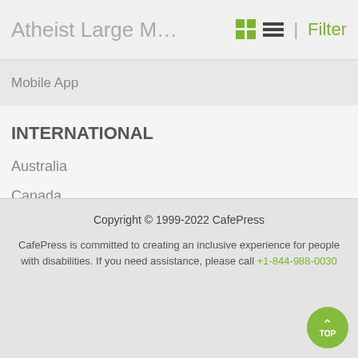Atheist Large M… | Filter
Mobile App
INTERNATIONAL
Australia
Canada
United Kingdom
United States & Worldwide
Copyright © 1999-2022 CafePress
CafePress is committed to creating an inclusive experience for people with disabilities. If you need assistance, please call +1-844-988-0030